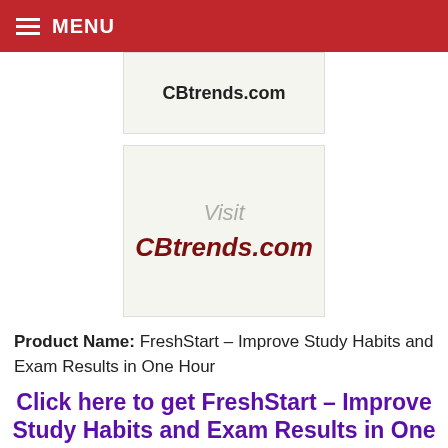≡ MENU
[Figure (logo): CBtrends.com logo partially visible at top]
[Figure (logo): Visit CBtrends.com banner image]
Product Name: FreshStart – Improve Study Habits and Exam Results in One Hour
Click here to get FreshStart – Improve Study Habits and Exam Results in One Hour at discounted